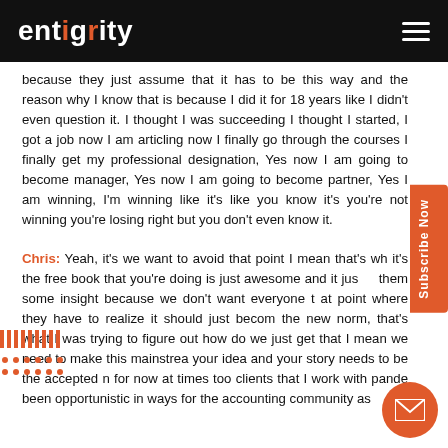entigrity
because they just assume that it has to be this way and the reason why I know that is because I did it for 18 years like I didn't even question it. I thought I was succeeding I thought I started, I got a job now I am articling now I finally go through the courses I finally get my professional designation, Yes now I am going to become manager, Yes now I am going to become partner, Yes I am winning, I'm winning like it's like you know it's you're not winning you're losing right but you don't even know it.
Chris: Yeah, it's we want to avoid that point I mean that's why it's the free book that you're doing is just awesome and it just them some insight because we don't want everyone to at point where they have to realize it should just become the new norm, that's what I was trying to figure out how do we just get that I mean we need to make this mainstream your idea and your story needs to be the accepted norm for now at times too clients that I work with pandemic been opportunistic in ways for the accounting community as